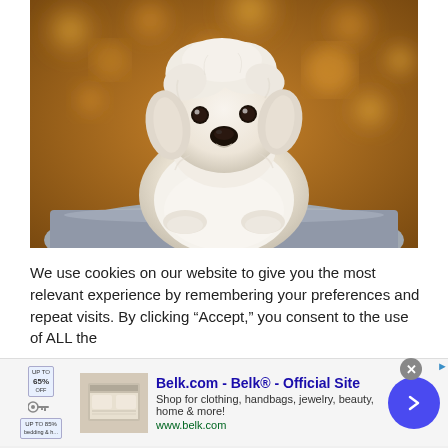[Figure (photo): A small white fluffy puppy (Maltese or similar breed) sitting on a gray surface with a blurred autumn golden/orange bokeh background, looking directly at the camera.]
We use cookies on our website to give you the most relevant experience by remembering your preferences and repeat visits. By clicking "Accept," you consent to the use of ALL the
[Figure (screenshot): Advertisement banner for Belk.com - Belk® - Official Site. Shows thumbnail image of bedding/home goods. Text: 'Shop for clothing, handbags, jewelry, beauty, home & more! www.belk.com'. Has a blue circular arrow button on the right and a close (X) button.]